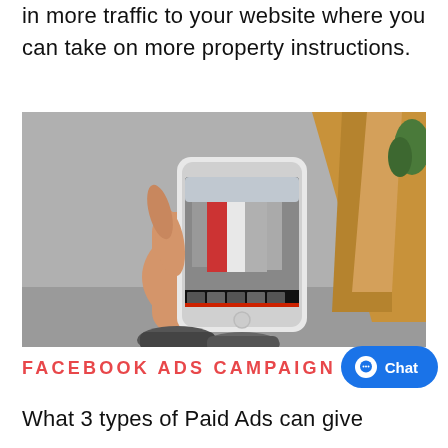in more traffic to your website where you can take on more property instructions.
[Figure (photo): Hand holding a white smartphone displaying a photo editing app with an image of a colorful narrow European street. Wooden boards and a plant visible in background, person's sneaker-clad feet visible at bottom.]
FACEBOOK ADS CAMPAIGN
What 3 types of Paid Ads can give